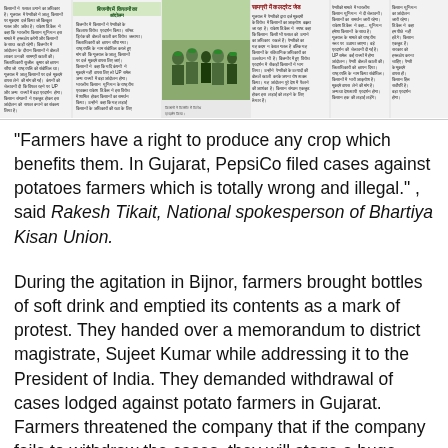[Figure (photo): Top banner newspaper section in Hindi with multiple columns of Hindi text and a central photograph of farmers/protesters grouped together outdoors. Columns contain news articles in Hindi script. A headline in Hindi reads about farmers and a contract/collector issue.]
“Farmers have a right to produce any crop which benefits them. In Gujarat, PepsiCo filed cases against potatoes farmers which is totally wrong and illegal.” , said Rakesh Tikait, National spokesperson of Bhartiya Kisan Union.
During the agitation in Bijnor, farmers brought bottles of soft drink and emptied its contents as a mark of protest. They handed over a memorandum to district magistrate, Sujeet Kumar while addressing it to the President of India. They demanded withdrawal of cases lodged against potato farmers in Gujarat. Farmers threatened the company that if the company fails to withdraw the cases, they will stage a huge protest in UP and other states.